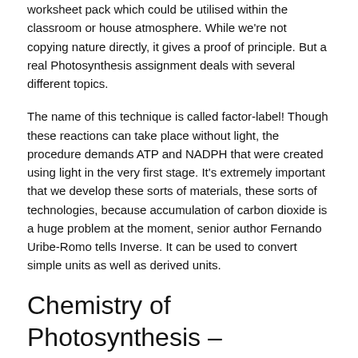worksheet pack which could be utilised within the classroom or house atmosphere. While we're not copying nature directly, it gives a proof of principle. But a real Photosynthesis assignment deals with several different topics.
The name of this technique is called factor-label! Though these reactions can take place without light, the procedure demands ATP and NADPH that were created using light in the very first stage. It's extremely important that we develop these sorts of materials, these sorts of technologies, because accumulation of carbon dioxide is a huge problem at the moment, senior author Fernando Uribe-Romo tells Inverse. It can be used to convert simple units as well as derived units.
Chemistry of Photosynthesis – Overview
To be able to convert between units, you might want to understand common unit prefixes. The decomposers have a significant part in the cycling of material In the biosphere. This needs to be balanced too. Overview of both steps in the photosynthesis procedure.
It is a complicated chain of reactions which are not yet completely understood. For pregnant ladies, exactly the exact same range might not be considered.
Answers to the chemistry Photosynthesis –